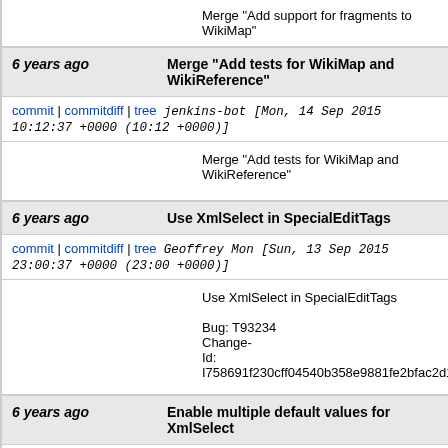Merge "Add support for fragments to WikiMap"
6 years ago   Merge "Add tests for WikiMap and WikiReference"
commit | commitdiff | tree   jenkins-bot [Mon, 14 Sep 2015 10:12:37 +0000 (10:12 +0000)]
Merge "Add tests for WikiMap and WikiReference"
6 years ago   Use XmlSelect in SpecialEditTags
commit | commitdiff | tree   Geoffrey Mon [Sun, 13 Sep 2015 23:00:37 +0000 (23:00 +0000)]
Use XmlSelect in SpecialEditTags

Bug: T93234
Change-Id: I758691f230cff04540b358e9881fe2bfac2d1b9e
6 years ago   Enable multiple default values for XmlSelect
commit | commitdiff | tree   Geoffrey Mon [Sun, 13 Sep 2015 22:52:33 +0000 (22:52 +0000)]
Enable multiple default values for XmlSelect